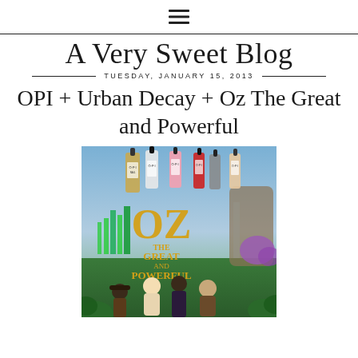[Figure (other): Hamburger menu icon (three horizontal lines)]
A Very Sweet Blog
TUESDAY, JANUARY 15, 2013
OPI + Urban Decay + Oz The Great and Powerful
[Figure (photo): Movie promotional image for 'Oz The Great and Powerful' featuring OPI nail polish bottles arranged around the Oz movie logo, with fantasy landscape background and characters at the bottom]